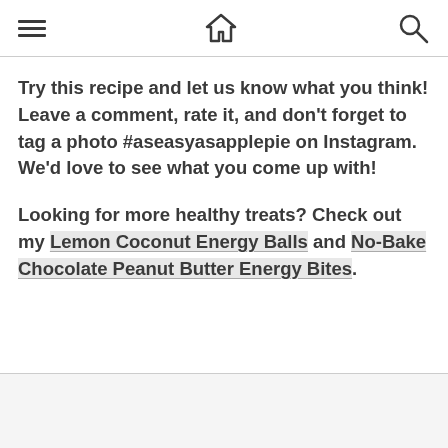[hamburger menu] [home icon] [search icon]
Try this recipe and let us know what you think! Leave a comment, rate it, and don't forget to tag a photo #aseasyasapplepie on Instagram. We'd love to see what you come up with!
Looking for more healthy treats? Check out my Lemon Coconut Energy Balls and No-Bake Chocolate Peanut Butter Energy Bites.